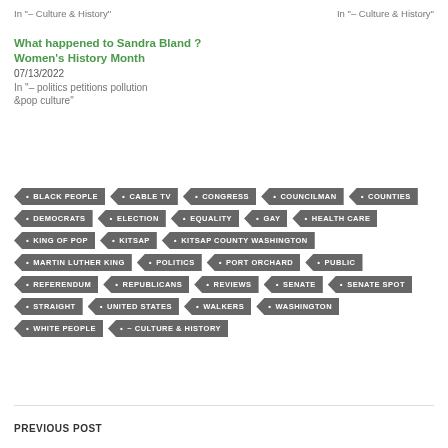In "– Culture & History"
In "– Culture & History"
What happened to Sandra Bland ?
Women's History Month
07/13/2022
In "– politics petitions pollution &pop culture"
BLACK PEOPLE
CABLE TV
CONGRESS
COUNCILMAN
COUNTIES
DEMOCRATS
ELECTION
EQUALITY
GAY
HEALTH CARE
KING OF POP
KITSAP
KITSAP COUNTY WASHINGTON
MARTIN LUTHER KING
POLITICS
PORT ORCHARD
PUBLIC
REFERENDUM
REPUBLICANS
REVIEWS
SENATE
SENATE SPOT
STRAIGHT
UNITED STATES
WALKERS
WASHINGTON
WHITE PEOPLE
~ CULTURE & HISTORY
PREVIOUS POST